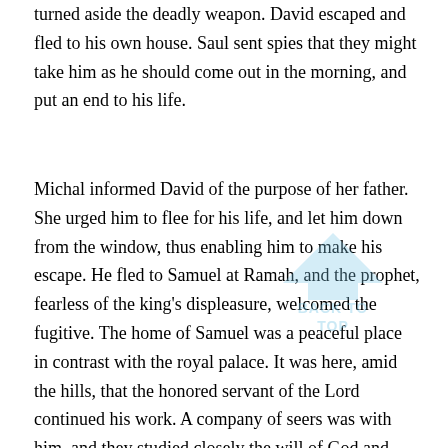turned aside the deadly weapon. David escaped and fled to his own house. Saul sent spies that they might take him as he should come out in the morning, and put an end to his life.
Michal informed David of the purpose of her father. She urged him to flee for his life, and let him down from the window, thus enabling him to make his escape. He fled to Samuel at Ramah, and the prophet, fearless of the king's displeasure, welcomed the fugitive. The home of Samuel was a peaceful place in contrast with the royal palace. It was here, amid the hills, that the honored servant of the Lord continued his work. A company of seers was with him, and they studied closely the will of God and listened reverently to the words of instruction that fell from the lips of Samuel. Precious were the lessons that David learned from the teacher of Israel. David believed that the troops of Saul would not be ordered to invade this sacred place, but no place seemed to be sacred to the darkened mind of the desperate king. David's connection with Samuel aroused the jealousy of the king, lest he who was revered as a
[Figure (other): Semi-transparent light blue 'Back to Top' arrow icon watermark overlaid on the text]